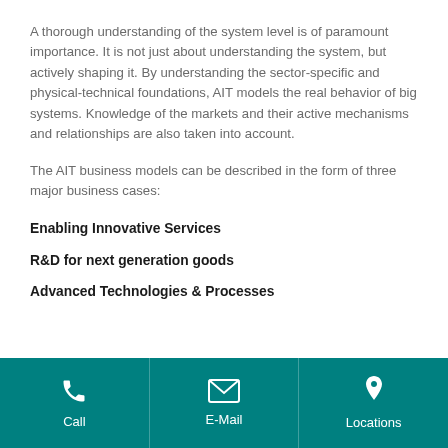A thorough understanding of the system level is of paramount importance. It is not just about understanding the system, but actively shaping it. By understanding the sector-specific and physical-technical foundations, AIT models the real behavior of big systems. Knowledge of the markets and their active mechanisms and relationships are also taken into account.
The AIT business models can be described in the form of three major business cases:
Enabling Innovative Services
R&D for next generation goods
Advanced Technologies & Processes
Call | E-Mail | Locations